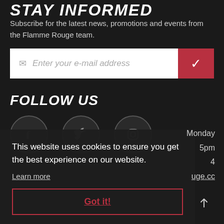STAY INFORMED
Subscribe for the latest news, promotions and events from the Flamme Rouge team.
[Figure (other): Email subscription input field with envelope icon placeholder text 'Enter your e-mail address' and a red checkmark submit button]
FOLLOW US
[Figure (other): Three social media icon circles: Facebook (f), Twitter (bird), Instagram (camera)]
This website uses cookies to ensure you get the best experience on our website.
Learn more
Got it!
Monday
5pm
4ouge.cc